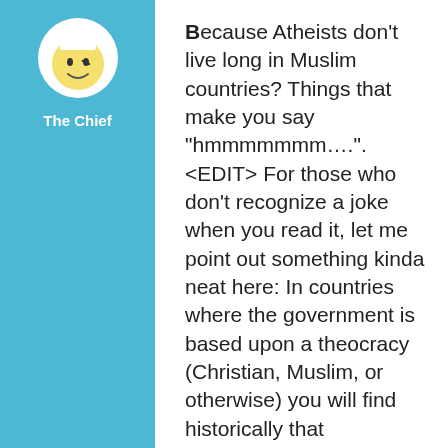[Figure (illustration): Avatar icon of a cartoon chef character with a white chef hat and smiling face on a light blue background panel, with username 'The Chief' below it]
Because Atheists don't live long in Muslim countries? Things that make you say "hmmmmmmm….". <EDIT> For those who don't recognize a joke when you read it, let me point out something kinda neat here: In countries where the government is based upon a theocracy (Christian, Muslim, or otherwise) you will find historically that ANYBODY who speaks out against the established religion has a hard time in many ways. Sometimes only in minor ways, other times by loss of